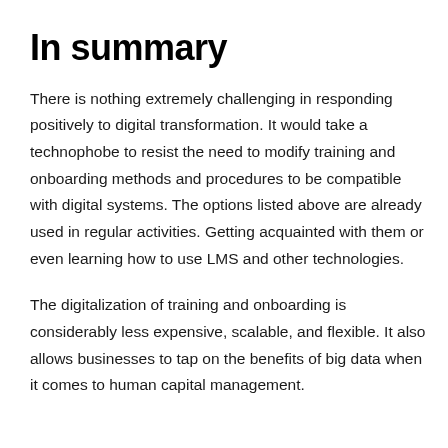In summary
There is nothing extremely challenging in responding positively to digital transformation. It would take a technophobe to resist the need to modify training and onboarding methods and procedures to be compatible with digital systems. The options listed above are already used in regular activities. Getting acquainted with them or even learning how to use LMS and other technologies.
The digitalization of training and onboarding is considerably less expensive, scalable, and flexible. It also allows businesses to tap on the benefits of big data when it comes to human capital management.